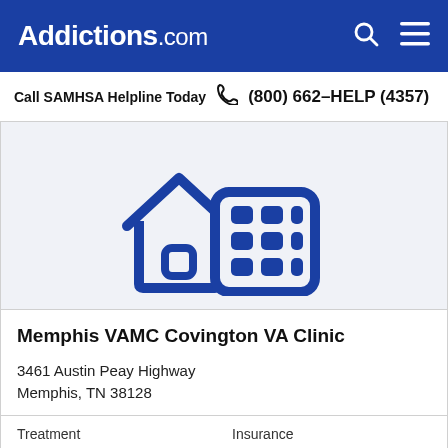Addictions.com
Call SAMHSA Helpline Today  (800) 662-HELP (4357)
[Figure (illustration): Icon of a house and office building, both rendered in dark blue outline style on a light gray background, representing residential and outpatient treatment facilities.]
Memphis VAMC Covington VA Clinic
3461 Austin Peay Highway
Memphis, TN 38128
Treatment
Insurance
Outpatient
Inpatient
Detox
Private